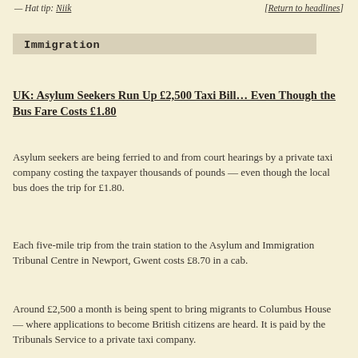— Hat tip: Niik   [Return to headlines]
Immigration
UK: Asylum Seekers Run Up £2,500 Taxi Bill… Even Though the Bus Fare Costs £1.80
Asylum seekers are being ferried to and from court hearings by a private taxi company costing the taxpayer thousands of pounds — even though the local bus does the trip for £1.80.
Each five-mile trip from the train station to the Asylum and Immigration Tribunal Centre in Newport, Gwent costs £8.70 in a cab.
Around £2,500 a month is being spent to bring migrants to Columbus House — where applications to become British citizens are heard. It is paid by the Tribunals Service to a private taxi company.
Arriving in style: Asylum seekers are being driven to tribunals at Columbus House, Newport by taxi — at a cost of £2,500 per month